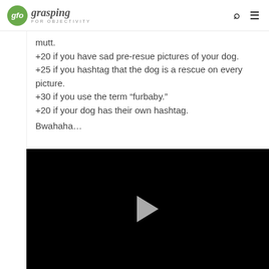gfo grasping FOR OBJECTIVITY
mutt.
+20 if you have sad pre-resue pictures of your dog.
+25 if you hashtag that the dog is a rescue on every picture.
+30 if you use the term “furbaby.”
+20 if your dog has their own hashtag.
Bwahaha…
[Figure (screenshot): Black video player with a play button (triangle) in the center]